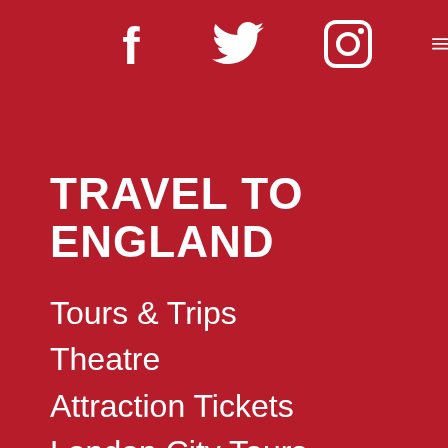[Figure (other): Social media icons: Facebook (f), Twitter (bird), Instagram (camera), and a partially visible fourth icon, all in white on dark red background]
TRAVEL TO ENGLAND
Tours & Trips
Theatre
Attraction Tickets
London City Tours
Tours from London